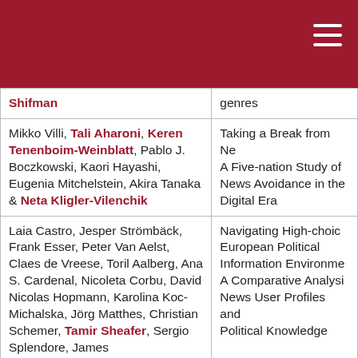| Authors | Title |
| --- | --- |
| Shifman | genres |
| Mikko Villi, Tali Aharoni, Keren Tenenboim-Weinblatt, Pablo J. Boczkowski, Kaori Hayashi, Eugenia Mitchelstein, Akira Tanaka & Neta Kligler-Vilenchik | Taking a Break from Ne... A Five-nation Study of News Avoidance in the Digital Era |
| Laia Castro, Jesper Strömbäck, Frank Esser, Peter Van Aelst, Claes de Vreese, Toril Aalberg, Ana S. Cardenal, Nicoleta Corbu, David Nicolas Hopmann, Karolina Koc-Michalska, Jörg Matthes, Christian Schemer, Tamir Sheafer, Sergio Splendore, James | Navigating High-choic... European Political Information Environme... A Comparative Analysi... News User Profiles and Political Knowledge |